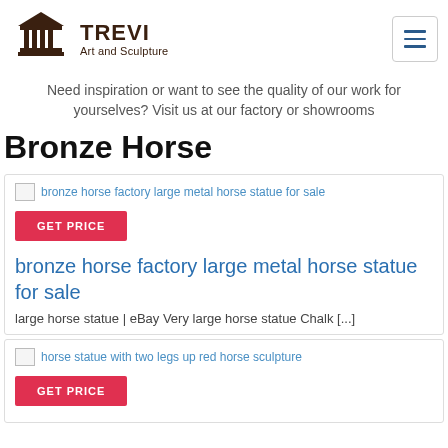TREVI Art and Sculpture
Need inspiration or want to see the quality of our work for yourselves? Visit us at our factory or showrooms
Bronze Horse
[Figure (photo): Broken image placeholder: bronze horse factory large metal horse statue for sale]
GET PRICE
bronze horse factory large metal horse statue for sale
large horse statue | eBay Very large horse statue Chalk [...]
[Figure (photo): Broken image placeholder: horse statue with two legs up red horse sculpture]
GET PRICE